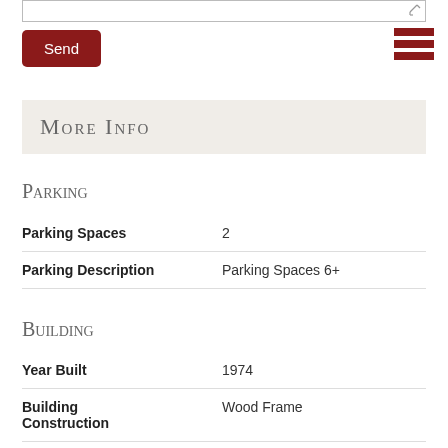[Figure (other): Text input box with pencil/edit icon at top right]
[Figure (other): Hamburger menu icon (three red horizontal bars) at top right]
Send
More Info
Parking
| Parking Spaces | 2 |
| Parking Description | Parking Spaces 6+ |
Building
| Year Built | 1974 |
| Building Construction | Wood Frame |
| Construction | Existing |